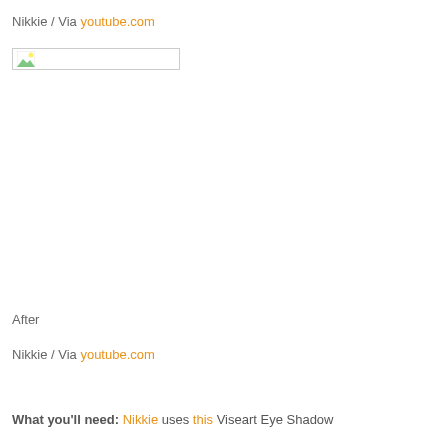Nikkie / Via youtube.com
[Figure (photo): Broken image placeholder box]
After
Nikkie / Via youtube.com
What you'll need: Nikkie uses this Viseart Eye Shadow